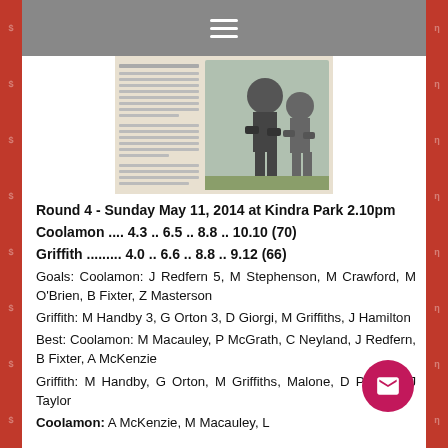[Figure (screenshot): Gray navigation menu bar with hamburger icon (three white horizontal lines)]
[Figure (photo): Newspaper clipping showing an AFL/Australian football match article with player action photo]
Round 4 - Sunday May 11, 2014 at Kindra Park 2.10pm
Coolamon .... 4.3 .. 6.5 .. 8.8 .. 10.10 (70)
Griffith ......... 4.0 .. 6.6 .. 8.8 .. 9.12 (66)
Goals: Coolamon: J Redfern 5, M Stephenson, M Crawford, M O'Brien, B Fixter, Z Masterson
Griffith: M Handby 3, G Orton 3, D Giorgi, M Griffiths, J Hamilton
Best: Coolamon: M Macauley, P McGrath, C Neyland, J Redfern, B Fixter, A McKenzie
Griffith: M Handby, G Orton, M Griffi... Malone, D Peruzzi, J Taylor
Coolamon: A McKenzie, M Macauley, L ...